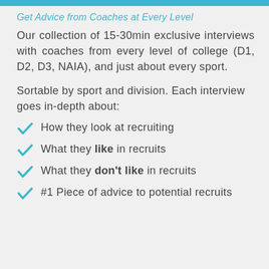Get Advice from Coaches at Every Level
Our collection of 15-30min exclusive interviews with coaches from every level of college (D1, D2, D3, NAIA), and just about every sport.
Sortable by sport and division. Each interview goes in-depth about:
How they look at recruiting
What they like in recruits
What they don't like in recruits
#1 Piece of advice to potential recruits